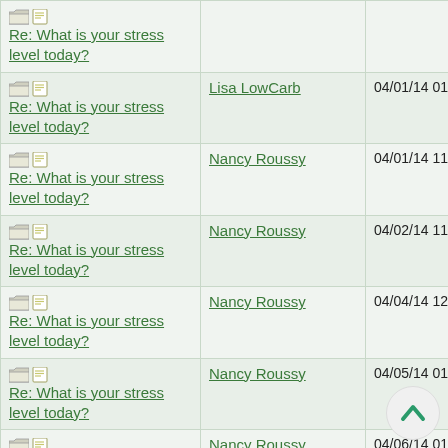| Topic | Author | Date |
| --- | --- | --- |
| Re: What is your stress level today? |  |  |
| Re: What is your stress level today? | Lisa LowCarb | 04/01/14 01:29 AM |
| Re: What is your stress level today? | Nancy Roussy | 04/01/14 11:45 PM |
| Re: What is your stress level today? | Nancy Roussy | 04/02/14 11:33 PM |
| Re: What is your stress level today? | Nancy Roussy | 04/04/14 12:27 AM |
| Re: What is your stress level today? | Nancy Roussy | 04/05/14 01:17 AM |
| Re: What is your stress level today? | Nancy Roussy | 04/06/14 01:40 AM |
| Re: What is your stress level today? | Nancy Roussy | 04/07/14 02:05 AM |